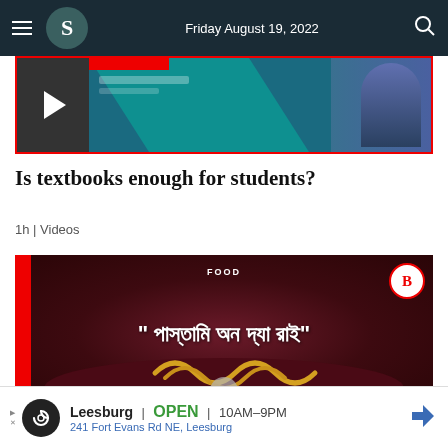Friday August 19, 2022
[Figure (screenshot): Video thumbnail showing a media player with play button on a dark teal background with a woman in the frame]
Is textbooks enough for students?
1h | Videos
[Figure (screenshot): Food video thumbnail showing Bengali text on a dark red/maroon background with cooked meat, red strip on left, B logo circle on top right, FOOD label at top center]
Leesburg OPEN 10AM–9PM 241 Fort Evans Rd NE, Leesburg